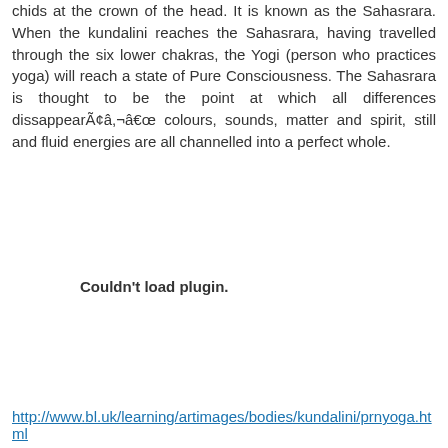chids at the crown of the head. It is known as the Sahasrara. When the kundalini reaches the Sahasrara, having travelled through the six lower chakras, the Yogi (person who practices yoga) will reach a state of Pure Consciousness. The Sahasrara is thought to be the point at which all differences dissappearÃ¢â¬â€œ colours, sounds, matter and spirit, still and fluid energies are all channelled into a perfect whole.
Couldn't load plugin.
http://www.bl.uk/learning/artimages/bodies/kundalini/prnyoga.html